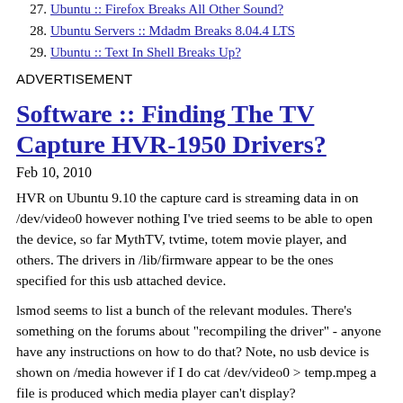27. Ubuntu :: Firefox Breaks All Other Sound?
28. Ubuntu Servers :: Mdadm Breaks 8.04.4 LTS
29. Ubuntu :: Text In Shell Breaks Up?
ADVERTISEMENT
Software :: Finding The TV Capture HVR-1950 Drivers?
Feb 10, 2010
HVR on Ubuntu 9.10 the capture card is streaming data in on /dev/video0 however nothing I've tried seems to be able to open the device, so far MythTV, tvtime, totem movie player, and others. The drivers in /lib/firmware appear to be the ones specified for this usb attached device.
lsmod seems to list a bunch of the relevant modules. There's something on the forums about "recompiling the driver" - anyone have any instructions on how to do that? Note, no usb device is shown on /media however if I do cat /dev/video0 > temp.mpeg a file is produced which media player can't display?